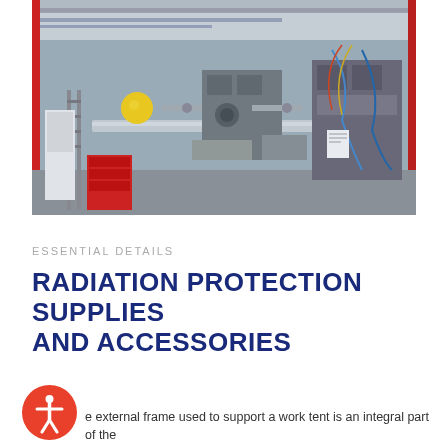[Figure (photo): Industrial laboratory interior showing complex scientific equipment and machinery — a particle accelerator or beamline facility with pipes, tubes, electronic components, red cabinets, wiring, and a yellow sphere visible. The facility has an industrial ceiling with lighting.]
ESSENTIAL DETAILS
RADIATION PROTECTION SUPPLIES AND ACCESSORIES
[Figure (logo): Accessibility icon — circular red button with white human figure (universal accessibility symbol)]
e external frame used to support a work tent is an integral part of the